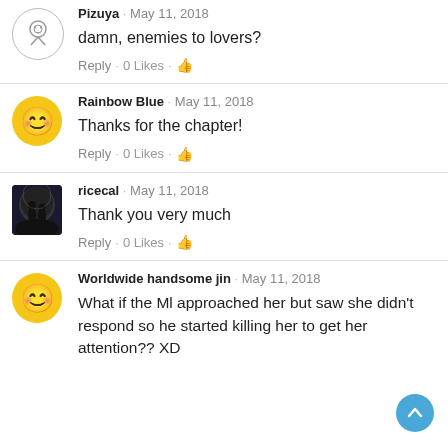Pizuya · May 11, 2018
damn, enemies to lovers?
Reply · 0 Likes ·
Rainbow Blue · May 11, 2018
Thanks for the chapter!
Reply · 0 Likes ·
ricecal · May 11, 2018
Thank you very much
Reply · 0 Likes ·
Worldwide handsome jin · May 11, 2018
What if the Ml approached her but saw she didn't respond so he started killing her to get her attention?? XD